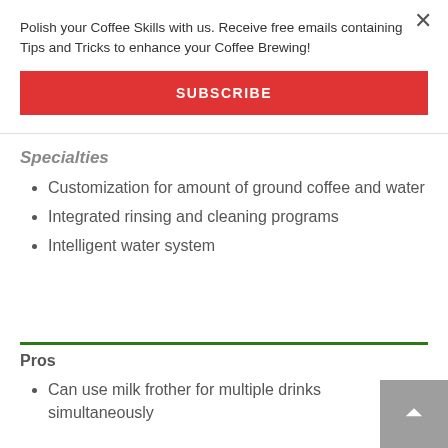Polish your Coffee Skills with us. Receive free emails containing Tips and Tricks to enhance your Coffee Brewing!
SUBSCRIBE
Specialties
Customization for amount of ground coffee and water
Integrated rinsing and cleaning programs
Intelligent water system
Pros
Can use milk frother for multiple drinks simultaneously